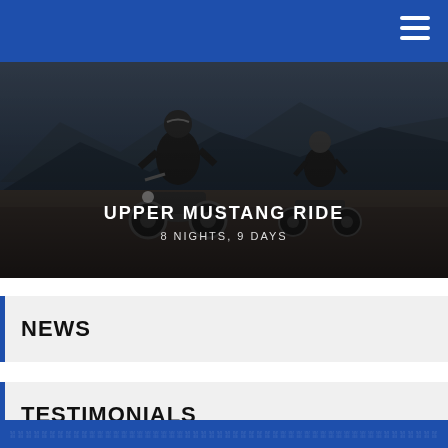[Figure (photo): Two motorcyclists riding on a mountain dirt road with hazy mountain peaks in the background. Dark, moody tone.]
UPPER MUSTANG RIDE
8 NIGHTS, 9 DAYS
NEWS
TESTIMONIALS